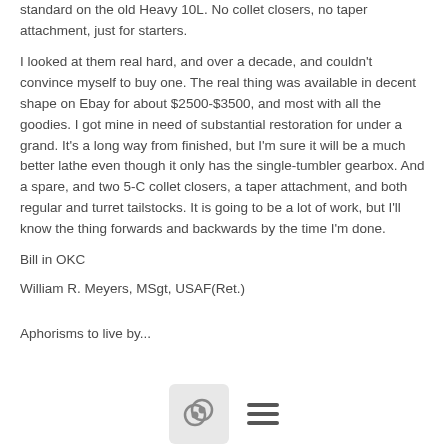standard on the old Heavy 10L. No collet closers, no taper attachment, just for starters.
I looked at them real hard, and over a decade, and couldn't convince myself to buy one. The real thing was available in decent shape on Ebay for about $2500-$3500, and most with all the goodies. I got mine in need of substantial restoration for under a grand. It's a long way from finished, but I'm sure it will be a much better lathe even though it only has the single-tumbler gearbox. And a spare, and two 5-C collet closers, a taper attachment, and both regular and turret tailstocks. It is going to be a lot of work, but I'll know the thing forwards and backwards by the time I'm done.
Bill in OKC
William R. Meyers, MSgt, USAF(Ret.)
Aphorisms to live by...
[Figure (other): Bottom navigation bar with a comment bubble icon button and a hamburger menu icon]